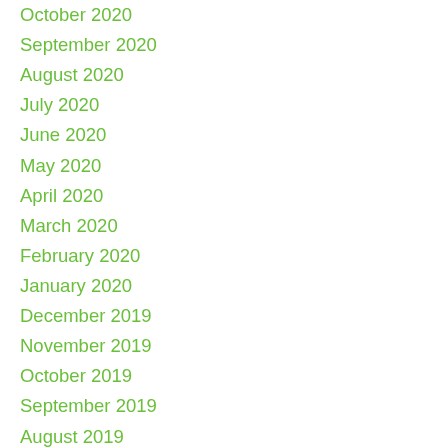October 2020
September 2020
August 2020
July 2020
June 2020
May 2020
April 2020
March 2020
February 2020
January 2020
December 2019
November 2019
October 2019
September 2019
August 2019
July 2019
June 2019
May 2019
April 2019